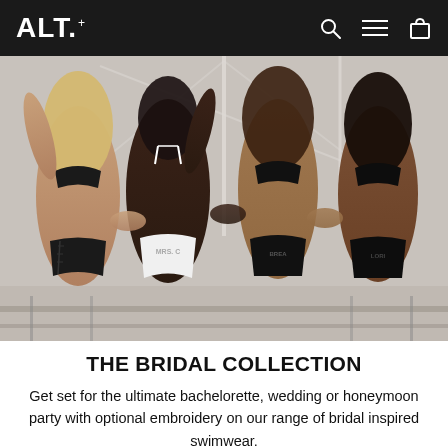ALT.+
[Figure (photo): Four women standing with arms around each other, backs to camera, wearing black and white swimwear/thongs on what appears to be a boat deck. One woman in white thong labeled 'MRS. C', others in black swimwear with embroidered names.]
THE BRIDAL COLLECTION
Get set for the ultimate bachelorette, wedding or honeymoon party with optional embroidery on our range of bridal inspired swimwear.